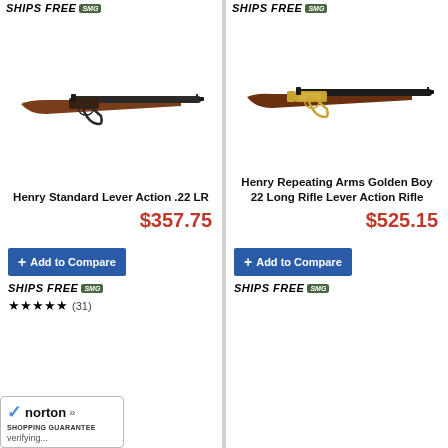[Figure (photo): Henry Standard Lever Action .22 LR rifle product image - a brown wooden lever-action rifle with dark metal barrel]
Henry Standard Lever Action .22 LR
$357.75
[Figure (photo): Henry Repeating Arms Golden Boy 22 Long Rifle Lever Action Rifle - lever-action rifle with gold/brass receiver and dark barrel]
Henry Repeating Arms Golden Boy 22 Long Rifle Lever Action Rifle
$525.15
+ Add to Compare
SHIPS FREE SMG ★★★★★ (31)
+ Add to Compare
SHIPS FREE SMG
BudsGunShop.com uses cookies to ensure you get the best experience. Details can be found in our Privacy Notice.
Got It!